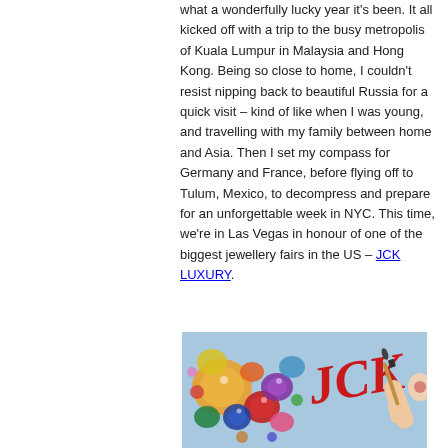what a wonderfully lucky year it's been. It all kicked off with a trip to the busy metropolis of Kuala Lumpur in Malaysia and Hong Kong. Being so close to home, I couldn't resist nipping back to beautiful Russia for a quick visit – kind of like when I was young, and travelling with my family between home and Asia. Then I set my compass for Germany and France, before flying off to Tulum, Mexico, to decompress and prepare for an unforgettable week in NYC. This time, we're in Las Vegas in honour of one of the biggest jewellery fairs in the US – JCK LUXURY.
[Figure (photo): Photo showing colourful gemstones and jewellery with 'JCK' written in red script lettering, and a hand holding a paintbrush]